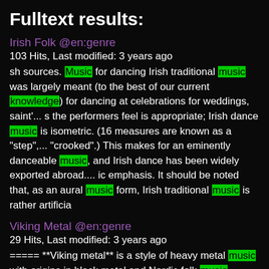Fulltext results:
Irish Folk @en:genre
103 Hits, Last modified: 3 years ago
sh sources. Music for dancing Irish traditional music was largely meant (to the best of our current knowledge) for dancing at celebrations for weddings, saint'... s the performers feel is appropriate; Irish dance music is isometric. (16 measures are known as a "step",... "crooked".) This makes for an eminently danceable music, and Irish dance has been widely exported abroad.... ic emphasis. It should be noted that, as an aural music form, Irish traditional music is rather artificia
Viking Metal @en:genre
29 Hits, Last modified: 3 years ago
===== **Viking metal** is a style of heavy metal music with origins in black metal and Nordic folk music, characterized by a lyrical and thematic focus on Nors... d